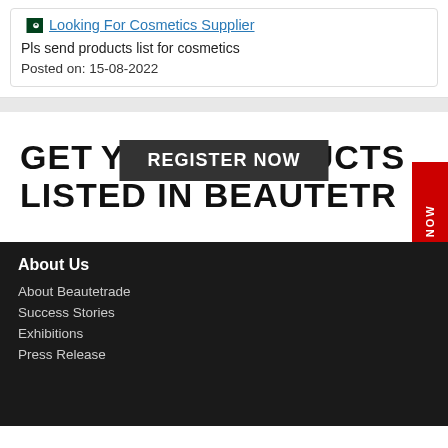Looking For Cosmetics Supplier
Pls send products list for cosmetics
Posted on: 15-08-2022
[Figure (infographic): Banner with text 'GET YOUR PRODUCTS LISTED IN BEAUTETRADE' with a dark 'REGISTER NOW' button overlay and a red vertical 'JOIN NOW' sidebar tab]
About Us
About Beautetrade
Success Stories
Exhibitions
Press Release